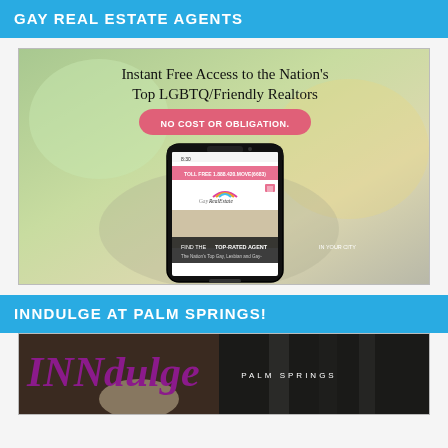GAY REAL ESTATE AGENTS
[Figure (screenshot): Advertisement for Gay Real Estate website showing a smartphone displaying GayRealEstate.com with text: Instant Free Access to the Nation's Top LGBTQ/Friendly Realtors, NO COST OR OBLIGATION., TOLL FREE 1.888.420.MOVE(6683), FIND THE TOP-RATED AGENT IN YOUR CITY, The Nation's Top Gay, Lesbian and Gay-]
INNDULGE AT PALM SPRINGS!
[Figure (photo): INNdulge Palm Springs hotel advertisement showing logo with purple italic INNdulge text and PALM SPRINGS subtitle in white on dark background]